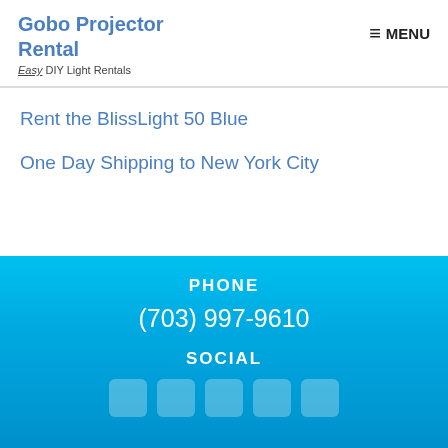Gobo Projector Rental
Easy DIY Light Rentals
≡ MENU
Rent the BlissLight 50 Blue
One Day Shipping to New York City
PHONE
(703) 997-9610
SOCIAL